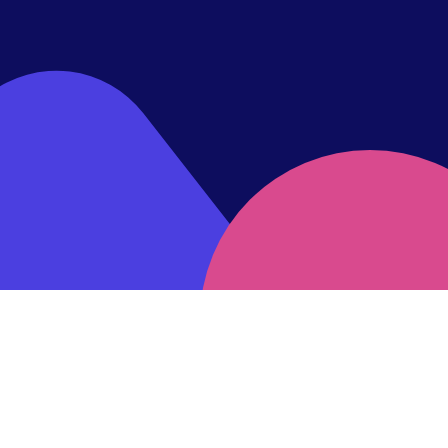[Figure (illustration): Abstract geometric graphic with dark navy background featuring overlapping shapes: a large diagonal purple/blue rounded rectangle band crossing from lower-left to upper-right, and a large pink/magenta circle partially visible in the lower-right corner, with overlapping areas creating a deeper pink-purple tone.]
By clicking “Accept All Cookies”, you agree to the storing of cookies on your device to enhance site navigation, analyze site usage, and assist in our marketing efforts.
×
Cookies Settings
Accept All Cookies